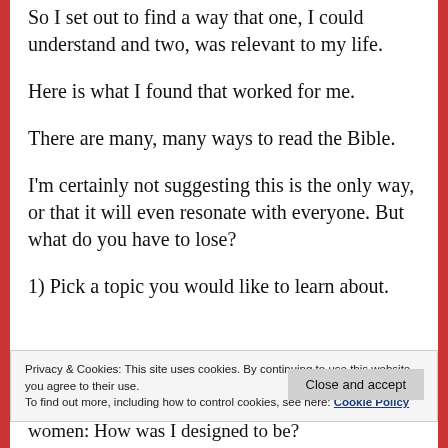So I set out to find a way that one, I could understand and two, was relevant to my life.
Here is what I found that worked for me.
There are many, many ways to read the Bible.
I'm certainly not suggesting this is the only way, or that it will even resonate with everyone. But what do you have to lose?
1) Pick a topic you would like to learn about.
Privacy & Cookies: This site uses cookies. By continuing to use this website, you agree to their use.
To find out more, including how to control cookies, see here: Cookie Policy
Close and accept
women: How was I designed to be?